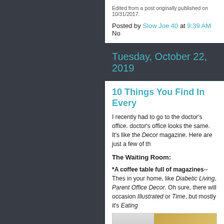Edited from a post originally published on 10/31/2017.
Posted by Slow Joe 40 at 9:39 AM   No
Tuesday, October 22, 2019
10 Things You Find In Every
I recently had to go to the doctor's office. doctor's office looks the same. It's like the Decor magazine. Here are just a few of th
The Waiting Room:
*A coffee table full of magazines--Thes in your home, like Diabetic Living, Parent Office Decor. Oh sure, there will occasion Illustrated or Time, but mostly it's Eating
[Figure (photo): Photo of magazines on a table, showing Diabetic Living magazine cover]